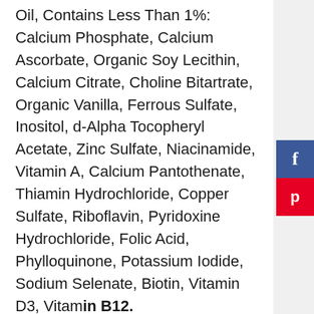Oil, Contains Less Than 1%: Calcium Phosphate, Calcium Ascorbate, Organic Soy Lecithin, Calcium Citrate, Choline Bitartrate, Organic Vanilla, Ferrous Sulfate, Inositol, d-Alpha Tocopheryl Acetate, Zinc Sulfate, Niacinamide, Vitamin A, Calcium Pantothenate, Thiamin Hydrochloride, Copper Sulfate, Riboflavin, Pyridoxine Hydrochloride, Folic Acid, Phylloquinone, Potassium Iodide, Sodium Selenate, Biotin, Vitamin D3, Vitamin B12.
Pros: This organic infant formula